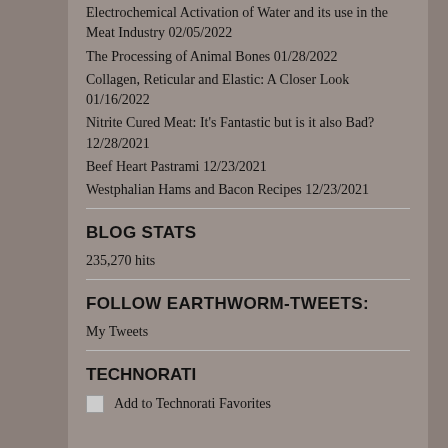Electrochemical Activation of Water and its use in the Meat Industry 02/05/2022
The Processing of Animal Bones 01/28/2022
Collagen, Reticular and Elastic: A Closer Look 01/16/2022
Nitrite Cured Meat: It’s Fantastic but is it also Bad? 12/28/2021
Beef Heart Pastrami 12/23/2021
Westphalian Hams and Bacon Recipes 12/23/2021
BLOG STATS
235,270 hits
FOLLOW EARTHWORM-TWEETS:
My Tweets
TECHNORATI
Add to Technorati Favorites